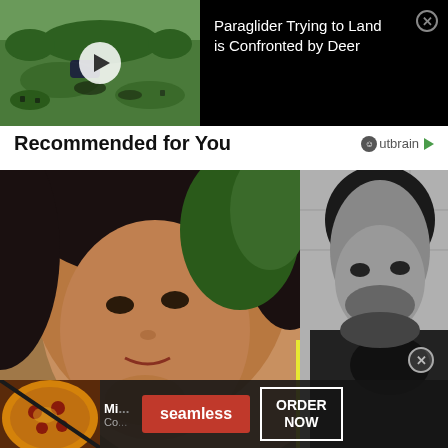[Figure (screenshot): Video thumbnail showing aerial view of green fields with paraglider shadow, with white play button overlay. Black background on right with video title text.]
Paraglider Trying to Land is Confronted by Deer
Recommended for You
[Figure (screenshot): Two-panel content recommendation images: left panel shows close-up of a woman's face (color photo), right panel shows black and white photo of a man holding something. Yellow vertical divider between panels. Bottom overlay shows Seamless food delivery advertisement with pizza image, seamless button, and ORDER NOW button.]